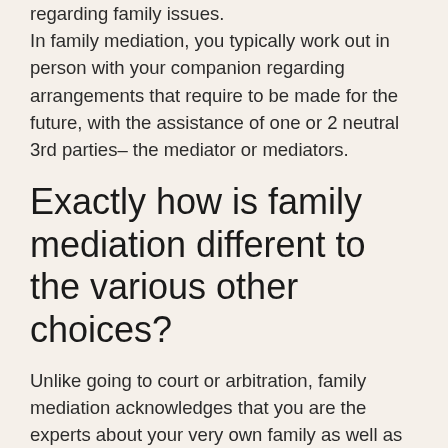regarding family issues.
In family mediation, you typically work out in person with your companion regarding arrangements that require to be made for the future, with the assistance of one or 2 neutral 3rd parties– the mediator or mediators.
Exactly how is family mediation different to the various other choices?
Unlike going to court or arbitration, family mediation acknowledges that you are the experts about your very own family as well as leaves the decision-making to you.
Unlike bargaining with your attorneys, family mediation permits you to talk directly per various other, so that you can both describe what you are feeling and share what is important to you.